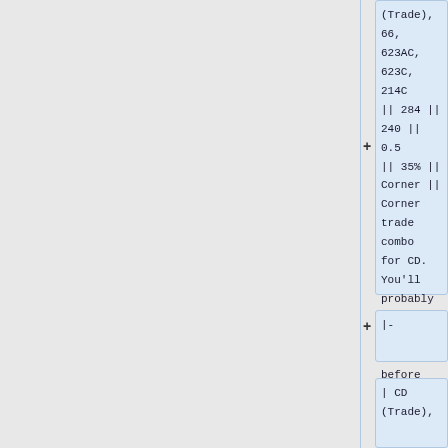(Trade), 66, 623AC, 623C, 214C || 284 || 240 || 0.5 || 35% || Corner || Corner trade combo for CD. You'll probably need to dash up a little before the 623AC.
|-
| CD (Trade),